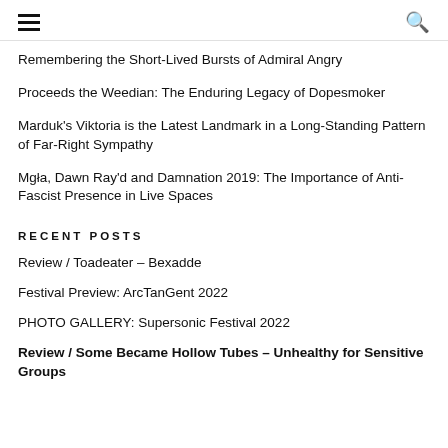≡  🔍
Remembering the Short-Lived Bursts of Admiral Angry
Proceeds the Weedian: The Enduring Legacy of Dopesmoker
Marduk's Viktoria is the Latest Landmark in a Long-Standing Pattern of Far-Right Sympathy
Mgła, Dawn Ray'd and Damnation 2019: The Importance of Anti-Fascist Presence in Live Spaces
RECENT POSTS
Review / Toadeater – Bexadde
Festival Preview: ArcTanGent 2022
PHOTO GALLERY: Supersonic Festival 2022
Review / Some Became Hollow Tubes – Unhealthy for Sensitive Groups